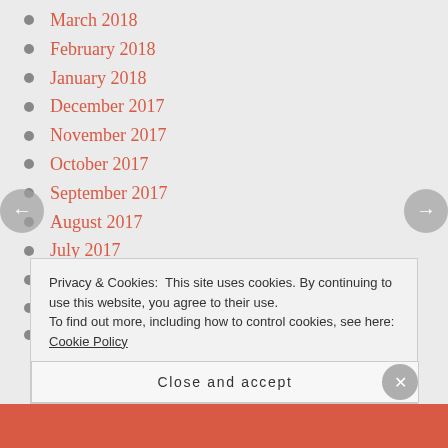March 2018
February 2018
January 2018
December 2017
November 2017
October 2017
September 2017
August 2017
July 2017
June 2017
May 2017
April 2017
Privacy & Cookies: This site uses cookies. By continuing to use this website, you agree to their use. To find out more, including how to control cookies, see here: Cookie Policy
Close and accept